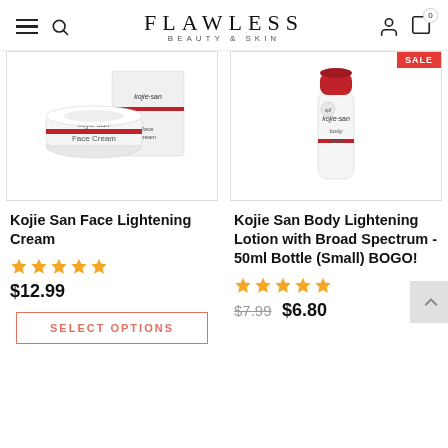FLAWLESS BEAUTY & SKIN
[Figure (photo): Kojie San Face Lightening Cream product photo showing cream jar and box]
[Figure (photo): Kojie San Body Lightening Lotion with Broad Spectrum 50ml bottle with red cap, labeled SALE]
Kojie San Face Lightening Cream
★★★★★
$12.99
SELECT OPTIONS
Kojie San Body Lightening Lotion with Broad Spectrum - 50ml Bottle (Small) BOGO!
★★★★★
$7.99 $6.80